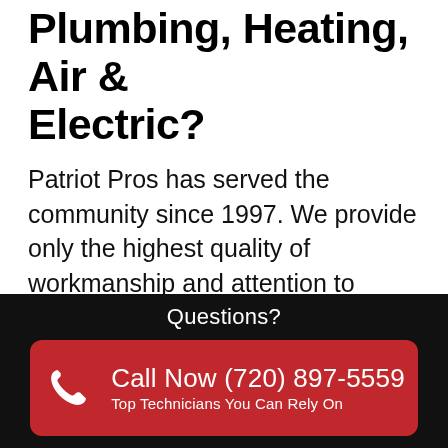Plumbing, Heating, Air & Electric?
Patriot Pros has served the community since 1997. We provide only the highest quality of workmanship and attention to detail. Most importantly, we know how important it is to keep our clients completely happy with the services we offer. We have trained, licensed professionals to help you with all of your heating, plumbing and air conditioning
Questions?
Call Now (720) 897-5559
Top Technicians You Can Rely On